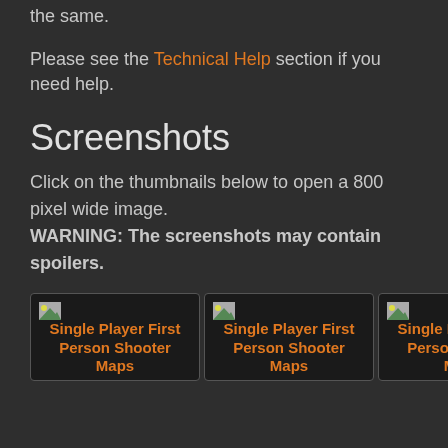the same.
Please see the Technical Help section if you need help.
Screenshots
Click on the thumbnails below to open a 800 pixel wide image.
WARNING: The screenshots may contain spoilers.
[Figure (screenshot): Row of thumbnail images labeled 'Single Player First Person Shooter Maps', partially cut off on right side]